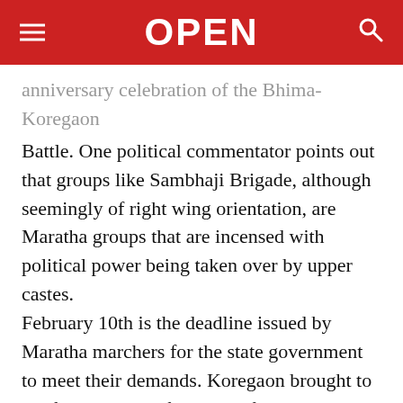OPEN
anniversary celebration of the Bhima- Koregaon Battle. One political commentator points out that groups like Sambhaji Brigade, although seemingly of right wing orientation, are Maratha groups that are incensed with political power being taken over by upper castes.
February 10th is the deadline issued by Maratha marchers for the state government to meet their demands. Koregaon brought to the fore all sorts of caste conflicts, Dalits against Marathas, Marathas against Brahmins, and Dalits against Brahmins.